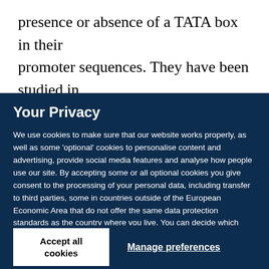presence or absence of a TATA box in their promoter sequences. They have been studied in
Your Privacy
We use cookies to make sure that our website works properly, as well as some ‘optional’ cookies to personalise content and advertising, provide social media features and analyse how people use our site. By accepting some or all optional cookies you give consent to the processing of your personal data, including transfer to third parties, some in countries outside of the European Economic Area that do not offer the same data protection standards as the country where you live. You can decide which optional cookies to accept by clicking on ‘Manage Settings’, where you can also find more information about how your personal data is processed. Further information can be found in our privacy policy.